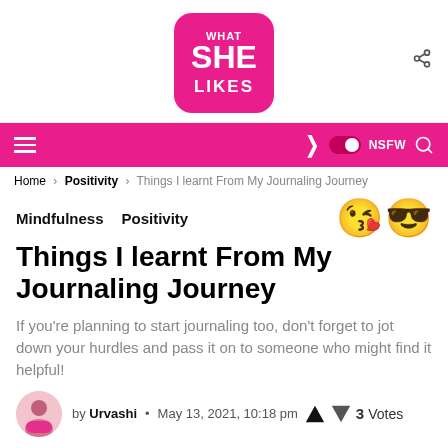[Figure (logo): What She Likes logo - pink rounded square with white text WHAT SHE LIKES]
Navigation bar with hamburger menu, moon icon, NSFW toggle, search icon
Home › Positivity › Things I learnt From My Journaling Journey
Mindfulness  Positivity
Things I learnt From My Journaling Journey
If you're planning to start journaling too, don't forget to jot down your hurdles and pass it on to someone who might find it helpful!
by Urvashi • May 13, 2021, 10:18 pm  3 Votes